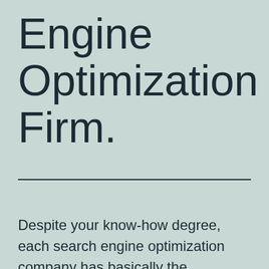Engine Optimization Firm.
Despite your know-how degree, each search engine optimization company has basically the